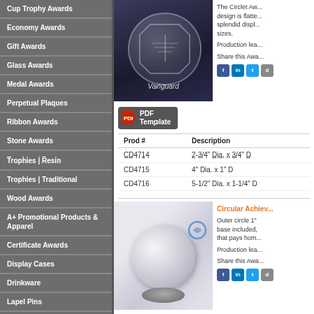Cup Trophy Awards
Economy Awards
Gift Awards
Glass Awards
Medal Awards
Perpetual Plaques
Ribbon Awards
Stone Awards
Trophies | Resin
Trophies | Traditional
Wood Awards
A+ Promotional Products & Apparel
Certificate Awards
Display Cases
Drinkware
Lapel Pins
Name Badges | Plates
[Figure (photo): Crystal circular/octagonal award plaque with ship engraving and Vanguard text, on dark background]
The Circlet Award design is flatte splendid display sizes. Production lea Share this Awa
[Figure (other): PDF Template button]
| Prod # | Description |
| --- | --- |
| CD4714 | 2-3/4" Dia. x 3/4" D |
| CD4715 | 4" Dia. x 1" D |
| CD4716 | 5-1/2" Dia. x 1-1/4" D |
Circular Achiev...
Outer circle 1" base included, that pays hom Production lea Share this Awa
[Figure (photo): Circular crystal globe award on silver base with blue circular logo accent]